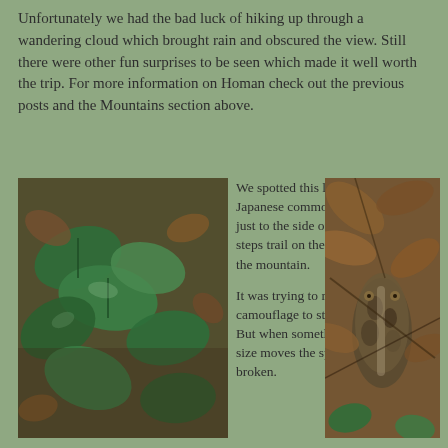Unfortunately we had the bad luck of hiking up through a wandering cloud which brought rain and obscured the view. Still there were other fun surprises to be seen which made it well worth the trip. For more information on Homan check out the previous posts and the Mountains section above.
[Figure (photo): Close-up photo of lush green leaves and dark brown plant matter on a forest floor, taken on a rainy mountain trail]
We spotted this large Japanese common toad just to the side of the stone steps trail on the way up the mountain.

It was trying to rely on it's camouflage to stay hidden. But when something this size moves the spell is broken.
[Figure (photo): Close-up photo of a large Japanese common toad camouflaged among dry brown leaves and twigs on a forest floor]